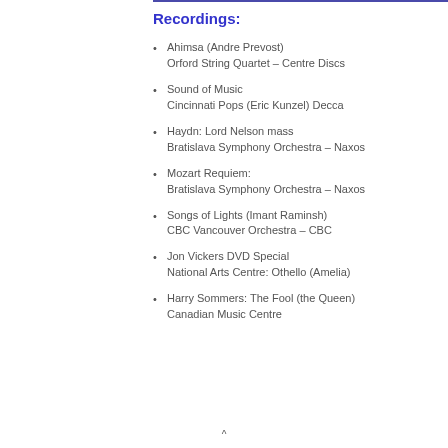Recordings:
Ahimsa (Andre Prevost)
Orford String Quartet – Centre Discs
Sound of Music
Cincinnati Pops (Eric Kunzel) Decca
Haydn: Lord Nelson mass
Bratislava Symphony Orchestra – Naxos
Mozart Requiem:
Bratislava Symphony Orchestra – Naxos
Songs of Lights (Imant Raminsh)
CBC Vancouver Orchestra – CBC
Jon Vickers DVD Special
National Arts Centre: Othello (Amelia)
Harry Sommers: The Fool (the Queen)
Canadian Music Centre
^